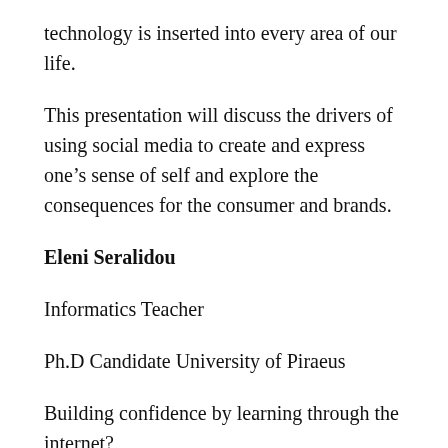technology is inserted into every area of our life.
This presentation will discuss the drivers of using social media to create and express one’s sense of self and explore the consequences for the consumer and brands.
Eleni Seralidou
Informatics Teacher
Ph.D Candidate University of Piraeus
Building confidence by learning through the internet?
Many times students transfer in class experience from activities outside of school settings and often they try to use their prior knowledge to solve problems they encounter during lessons. The activities referred are related to the use of new technologies and social